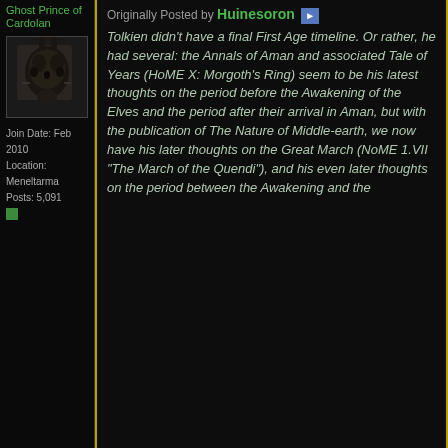Ghost Prince of Cardolan
[Figure (photo): Avatar image showing a black cat or animal, dark photo]
Join Date: Feb 2010
Location: Meneltarma
Posts: 5,091
Originally Posted by Huinesoron
Tolkien didn't have a final First Age timeline. Or rather, he had several: the Annals of Aman and associated Tale of Years (HoME X: Morgoth's Ring) seem to be his latest thoughts on the period before the Awakening of the Elves and the period after their arrival in Aman, but with the publication of The Nature of Middle-earth, we now have his later thoughts on the Great March (NoME 1.VII "The March of the Quendi"), and his even later thoughts on the period between the Awakening and the